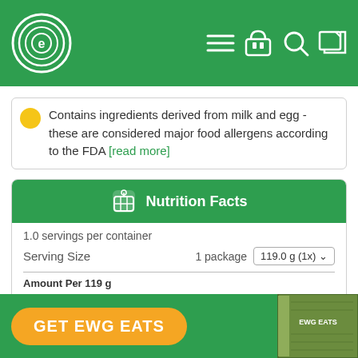EWG Food Scores navigation header
Contains ingredients derived from milk and egg - these are considered major food allergens according to the FDA [read more]
Nutrition Facts
1.0 servings per container
Serving Size 1 package 119.0 g (1x)
Amount Per 119 g
Calories 260
GET EWG EATS